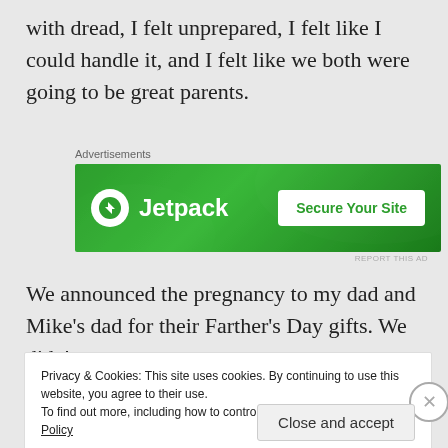with dread, I felt unprepared, I felt like I could handle it, and I felt like we both were going to be great parents.
[Figure (screenshot): Jetpack advertisement banner with green background, Jetpack logo on left, and 'Secure Your Site' button on right]
We announced the pregnancy to my dad and Mike's dad for their Farther's Day gifts. We didn't
Privacy & Cookies: This site uses cookies. By continuing to use this website, you agree to their use.
To find out more, including how to control cookies, see here: Cookie Policy